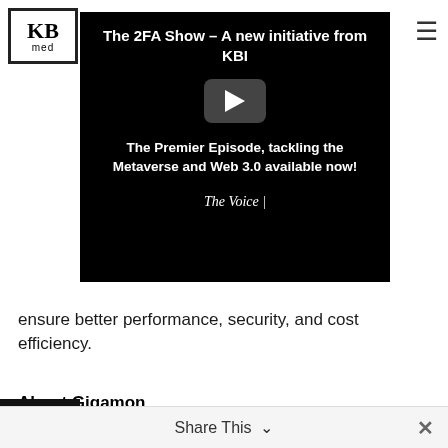[Figure (logo): KBI Media logo in a square border with 'KB' large text and 'med' below]
[Figure (screenshot): YouTube-style video thumbnail on black background. Title: 'The 2FA Show – A new initiative from KBI'. Play button in center. Subtitle: 'The Premier Episode, tackling the Metaverse and Web 3.0 available now!'. Footer: 'The Voice |']
ensure better performance, security, and cost efficiency.
About Gigamon